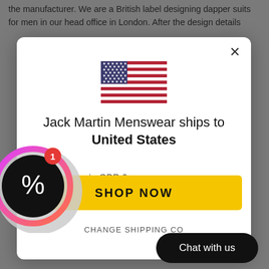the manufacturer. We are a British label designing dapper suits for men in our head office in London. After the design details
[Figure (screenshot): Modal dialog showing US flag, text 'Jack Martin Menswear ships to United States', currency line 'in GBP £', shipping options line, yellow SHOP NOW button, and CHANGE SHIPPING COUNTRY text. Overlapping coupon/discount badge on the left and Chat with us button at bottom right.]
in GBP £
shipping options for United States
SHOP NOW
CHANGE SHIPPING CO
Chat with us